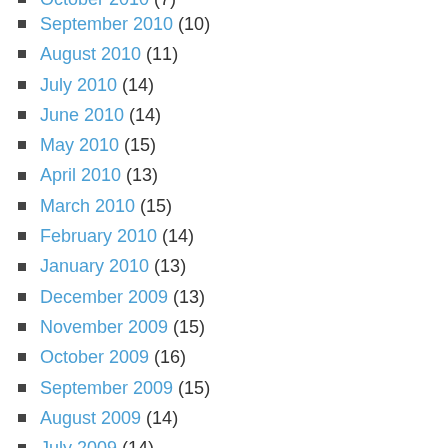September 2010 (10)
August 2010 (11)
July 2010 (14)
June 2010 (14)
May 2010 (15)
April 2010 (13)
March 2010 (15)
February 2010 (14)
January 2010 (13)
December 2009 (13)
November 2009 (15)
October 2009 (16)
September 2009 (15)
August 2009 (14)
July 2009 (14)
June 2009 (12)
May 2009 (15)